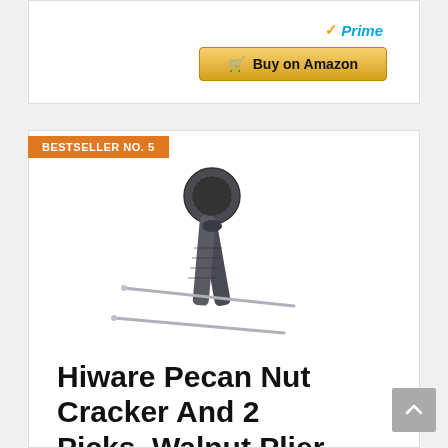[Figure (screenshot): Amazon Prime badge with checkmark and 'Prime' text in blue italic]
[Figure (screenshot): Golden 'Buy on Amazon' button with shopping cart icon]
BESTSELLER NO. 5
[Figure (photo): Hiware Pecan Nut Cracker tool with 2 picks on white background - dark grey metal nutcracker with ridged cup and two thin metal picks]
Hiware Pecan Nut Cracker And 2 Picks, Walnut Plier Opener Tool With Non-Sli...